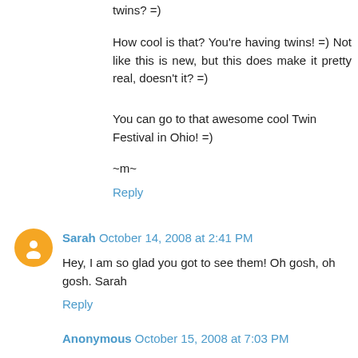twins? =)
How cool is that? You're having twins! =) Not like this is new, but this does make it pretty real, doesn't it? =)
You can go to that awesome cool Twin Festival in Ohio! =)
~m~
Reply
Sarah October 14, 2008 at 2:41 PM
Hey, I am so glad you got to see them! Oh gosh, oh gosh. Sarah
Reply
Anonymous October 15, 2008 at 7:03 PM
Oh I am so happy for you!!!!!!!
-heather